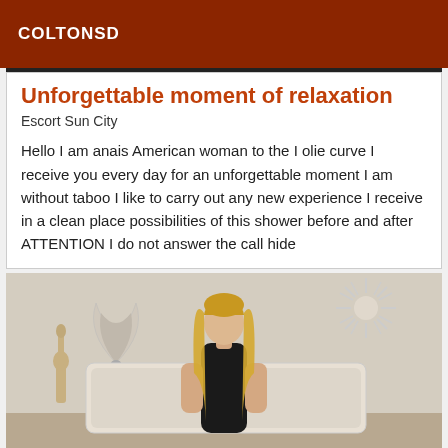COLTONSD
Unforgettable moment of relaxation
Escort Sun City
Hello I am anais American woman to the I olie curve I receive you every day for an unforgettable moment I am without taboo I like to carry out any new experience I receive in a clean place possibilities of this shower before and after ATTENTION I do not answer the call hide
[Figure (photo): A young blonde woman standing in a room with decorative wall art pieces in the background, wearing a dark top]